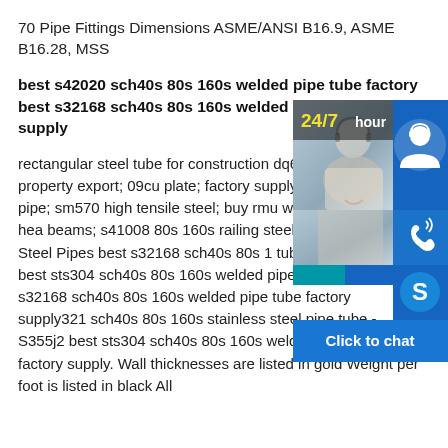70 Pipe Fittings Dimensions ASME/ANSI B16.9, ASME B16.28, MSS
best s42020 sch40s 80s 160s welded pipe tube factory best s32168 sch40s 80s 160s welded pipe tube factory supply
rectangular steel tube for construction dq63 mechanical property export; 09cu plate; factory supply low price a36 ss4 pipe; sm570 high tensile steel; buy rmu welded a572 gr 65 hea beams; s41008 80s 160s railing steel tube. ASTM A31 Steel Pipes best s32168 sch40s 80s 1 tube factory supply best sts304 sch40s 80s 160s welded pipe tube factory best s32168 sch40s 80s 160s welded pipe tube factory supply321 sch40s 80s 160s stainless steel pipe tube - S355j2 best sts304 sch40s 80s 160s welded pipe tube factory supply. Wall thicknesses are listed in gold Weight per foot is listed in black All
[Figure (infographic): Customer service widget with 24/7 hour label, photo of customer service representative, phone icon, Skype icon, and 'Click to chat' button bar]